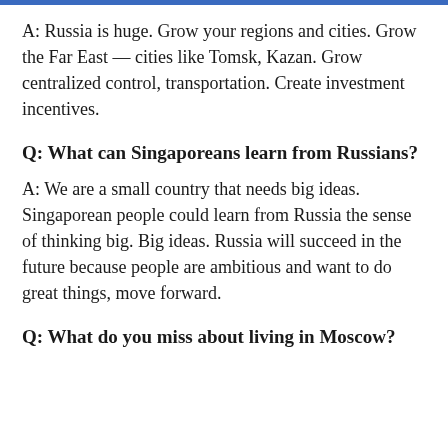A: Russia is huge. Grow your regions and cities. Grow the Far East — cities like Tomsk, Kazan. Grow centralized control, transportation. Create investment incentives.
Q: What can Singaporeans learn from Russians?
A: We are a small country that needs big ideas. Singaporean people could learn from Russia the sense of thinking big. Big ideas. Russia will succeed in the future because people are ambitious and want to do great things, move forward.
Q: What do you miss about living in Moscow?